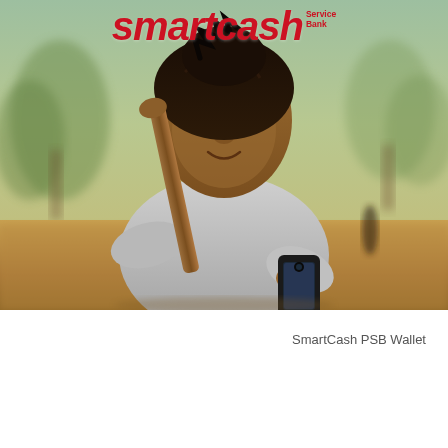[Figure (photo): A young African woman wearing a grey sweatshirt, carrying a wooden stick/tool over her shoulder, smiling while looking at a smartphone in her hand. Background is an outdoor rural/savanna setting with blurred trees and dry grass. SmartCash Service Bank logo in red italic text appears at the top of the image.]
SmartCash PSB Wallet